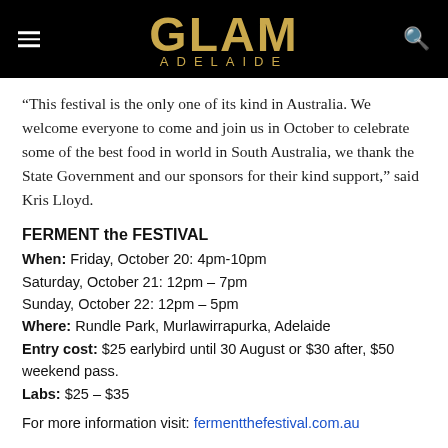GLAM ADELAIDE
“This festival is the only one of its kind in Australia. We welcome everyone to come and join us in October to celebrate some of the best food in world in South Australia, we thank the State Government and our sponsors for their kind support,” said Kris Lloyd.
FERMENT the FESTIVAL
When: Friday, October 20: 4pm-10pm
Saturday, October 21: 12pm – 7pm
Sunday, October 22: 12pm – 5pm
Where: Rundle Park, Murlawirrapurka, Adelaide
Entry cost: $25 earlybird until 30 August or $30 after, $50 weekend pass.
Labs: $25 – $35
For more information visit: fermentthefestival.com.au